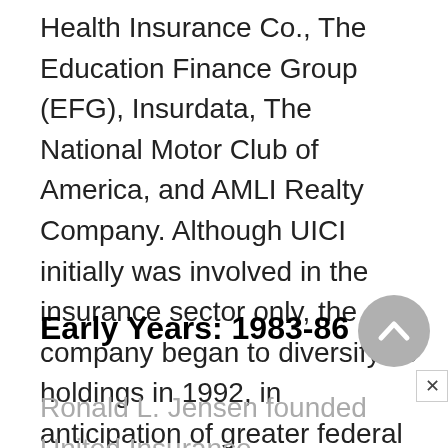Health Insurance Co., The Education Finance Group (EFG), Insurdata, The National Motor Club of America, and AMLI Realty Company. Although UICI initially was involved in the insurance sector only, the company began to diversify its holdings in 1992, in anticipation of greater federal regulation of the health care industry.
Early Years: 1983-86
Ronald L. Jensen founded United Insurance Companies, Inc. in 1983.